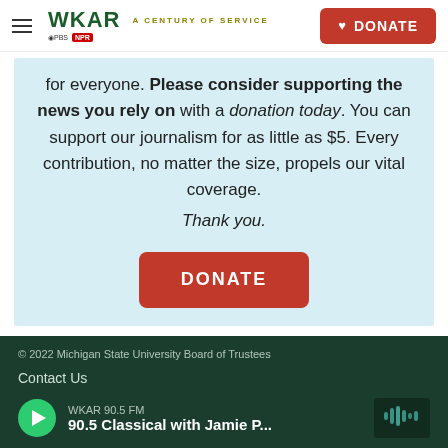WKAR A CENTURY OF SERVICE | DONATE
for everyone. Please consider supporting the news you rely on with a donation today. You can support our journalism for as little as $5. Every contribution, no matter the size, propels our vital coverage. Thank you.
DONATE
© 2022 Michigan State University Board of Trustees
Contact Us
WKAR 90.5 FM | 90.5 Classical with Jamie P...